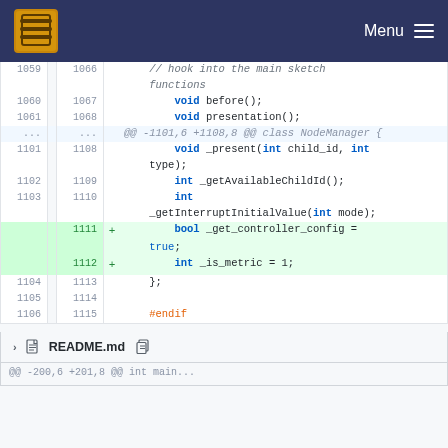[Figure (screenshot): Navigation bar with OpenTools logo on left and Menu hamburger icon on right, dark blue background]
Code diff view showing changes to a C++ header file. Lines 1059-1106 (old) and 1066-1115 (new) are shown. The diff includes function declarations: void before(), void presentation(), void _present(int child_id, int type), int _getAvailableChildId(), int _getInterruptInitialValue(int mode). Two added lines: bool _get_controller_config = true; and int _is_metric = 1;
README.md file header section at bottom